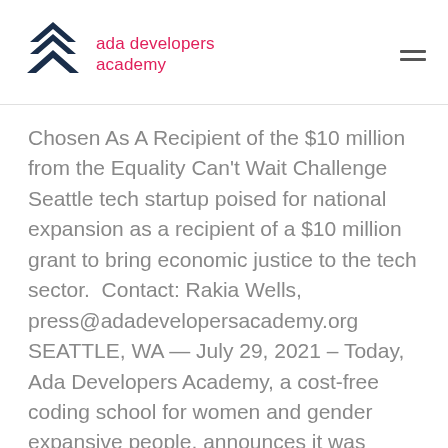ada developers academy
Chosen As A Recipient of the $10 million from the Equality Can't Wait Challenge
Seattle tech startup poised for national expansion as a recipient of a $10 million grant to bring economic justice to the tech sector.  Contact: Rakia Wells, press@adadevelopersacademy.org SEATTLE, WA — July 29, 2021 – Today, Ada Developers Academy, a cost-free coding school for women and gender expansive people, announces it was awarded $10